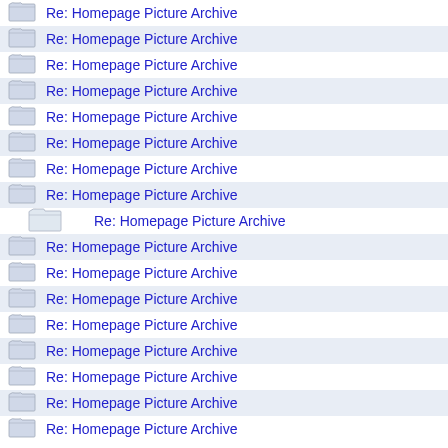Re: Homepage Picture Archive
Re: Homepage Picture Archive
Re: Homepage Picture Archive
Re: Homepage Picture Archive
Re: Homepage Picture Archive
Re: Homepage Picture Archive
Re: Homepage Picture Archive
Re: Homepage Picture Archive
Re: Homepage Picture Archive
Re: Homepage Picture Archive
Re: Homepage Picture Archive
Re: Homepage Picture Archive
Re: Homepage Picture Archive
Re: Homepage Picture Archive
Re: Homepage Picture Archive
Re: Homepage Picture Archive
Re: Homepage Picture Archive